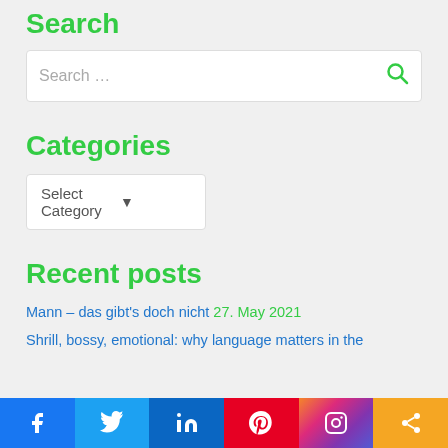Search
Search …
Categories
Select Category
Recent posts
Mann – das gibt's doch nicht 27. May 2021
Shrill, bossy, emotional: why language matters in the
[Figure (other): Social media share bar with Facebook, Twitter, LinkedIn, Pinterest, Instagram, and share icons]